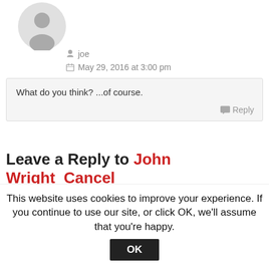[Figure (illustration): Gray generic user avatar silhouette icon]
joe
May 29, 2016 at 3:00 pm
What do you think? ...of course.
Reply
Leave a Reply to John Wright Cancel reply
Your email address will not be published. Required fields are marked *
This website uses cookies to improve your experience. If you continue to use our site, or click OK, we'll assume that you're happy.